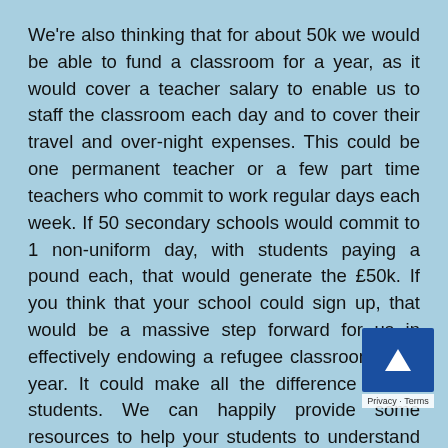We're also thinking that for about 50k we would be able to fund a classroom for a year, as it would cover a teacher salary to enable us to staff the classroom each day and to cover their travel and over-night expenses. This could be one permanent teacher or a few part time teachers who commit to work regular days each week. If 50 secondary schools would commit to 1 non-uniform day, with students paying a pound each, that would generate the £50k. If you think that your school could sign up, that would be a massive step forward for us in effectively endowing a refugee classroom for a year. It could make all the difference to our students. We can happily provide some resources to help your students to understand where their money would be used and why it is so important.
We have already had so many kind donations including